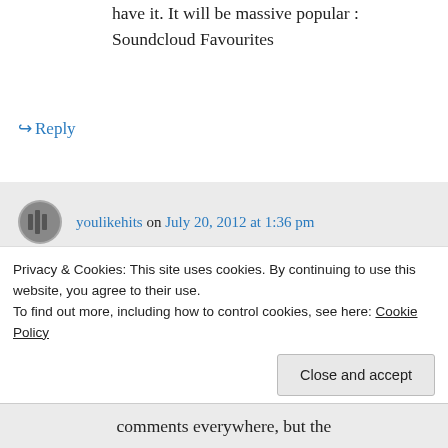have it. It will be massive popular : Soundcloud Favourites
↪ Reply
youlikehits on July 20, 2012 at 1:36 pm
Thanks for the suggestions. I'll look into it!
↪ Reply
Privacy & Cookies: This site uses cookies. By continuing to use this website, you agree to their use. To find out more, including how to control cookies, see here: Cookie Policy
Close and accept
comments everywhere, but the